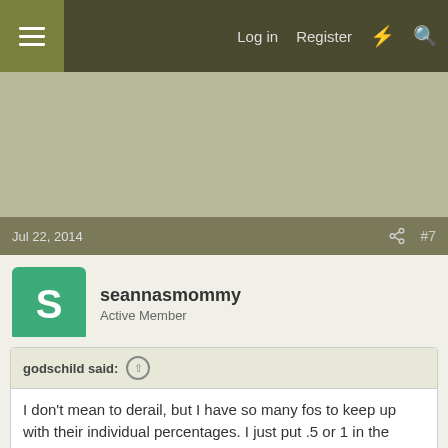Log in  Register
[Figure (other): Advertisement banner area with olive/khaki background]
Jul 22, 2014   #7
seannasmommy
Active Member
godschild said: ↑
I don't mean to derail, but I have so many fos to keep up with their individual percentages. I just put .5 or 1 in the fragrance spot on soapcalc. .5 for the stronger scents and 1 for the weaker ones. Is that ok or do I absolutely have to do it by their individual percentages? Please forgive me for asking on your thread.